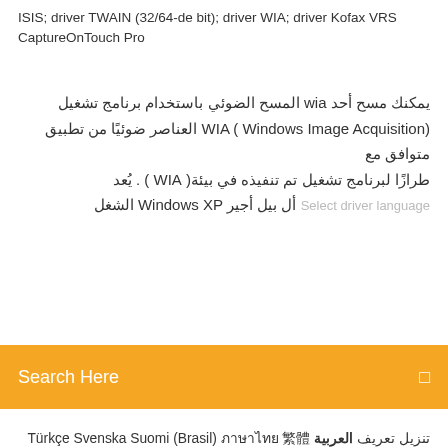ISIS; driver TWAIN (32/64-de bit); driver WIA; driver Kofax VRS CaptureOnTouch Pro
يمكنك مسح أحد wia المسح الضوئي باستخدام برنامج تشغيل WIA ( Windows Image Acquisition) العناصر ضوئيًا من تطبيق متوافق مع طرازًا لبرنامج تشغيل تم تنفيذه في بيئة( WIA ) . يُعد Select driver language أل بيل أجير Windows XP الشغل
Search Here
تنزيل تعريف العربية Türkçe Svenska Suomi (Brasil) ภาษาไทย 繁體中文 简体中文 Canon PIXMA PRO-100 الملونة Windows 10 (32bit) طابعة كانون Windows 10 (64bit) Windows تعريف طابعة كانون Canon PIXMA MG2540 Driver Windows 10/8/8.1/7/XP/Vista (32-bit) (64-bit) Mac OS هذه مجموعة من البرامج تشمل مجموعة كاملة من التعريفات ، والمثبت وبرامج اختيارية. تنزيل طابعة الجديدة والمميزة مجانا المتوفر Canon imageFORMULA DR-M160 برنامج التشغيل لنظام التشغيل المكتشف. Canon imageFORMULA DR-G2110 For certain products, a driver is necessary to enable the connection